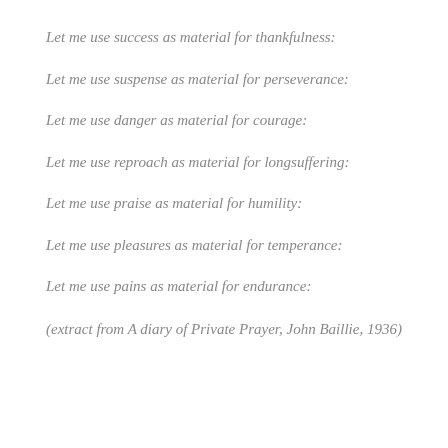Let me use success as material for thankfulness:
Let me use suspense as material for perseverance:
Let me use danger as material for courage:
Let me use reproach as material for longsuffering:
Let me use praise as material for humility:
Let me use pleasures as material for temperance:
Let me use pains as material for endurance:
(extract from A diary of Private Prayer, John Baillie, 1936)